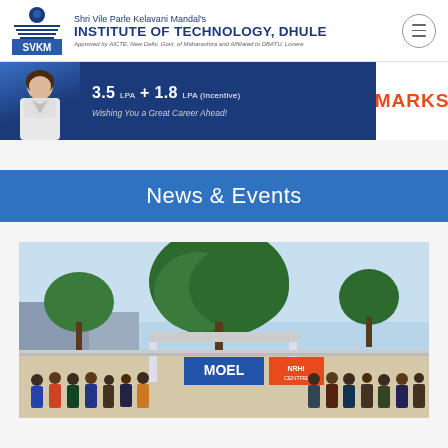Shri Vile Parle Kelavani Mandal's INSTITUTE OF TECHNOLOGY, DHULE — Approved by AICTE, New Delhi, Govt. of Maharashtra and Affiliated to DBATU, Lonere
[Figure (photo): Placement banner showing a female student photo, salary package 3.5 LPA + 1.8 LPA (Incentive), MARKS text in red, and 'Wishing You a Great Career Ahead!' message]
News & Events
[Figure (photo): Group photo of students standing in front of MOEL NRHI entrance gate with large trees in background]